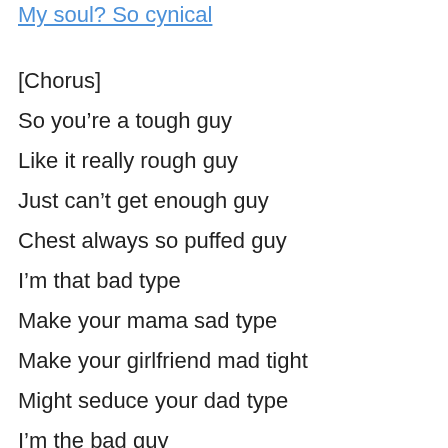My soul? So cynical
[Chorus]
So you're a tough guy
Like it really rough guy
Just can't get enough guy
Chest always so puffed guy
I'm that bad type
Make your mama sad type
Make your girlfriend mad tight
Might seduce your dad type
I'm the bad guy
Duh